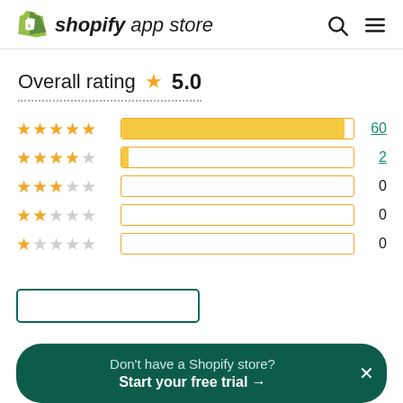shopify app store
Overall rating ★ 5.0
[Figure (bar-chart): Rating distribution]
Don't have a Shopify store? Start your free trial →